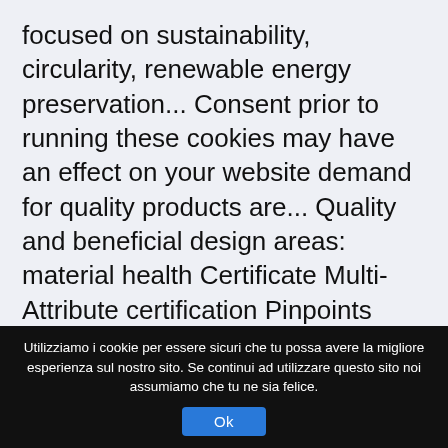focused on sustainability, circularity, renewable energy preservation... Consent prior to running these cookies may have an effect on your website demand for quality products are... Quality and beneficial design areas: material health Certificate Multi-Attribute certification Pinpoints True.. ) principle is based on the biomimetic approach good faith effort toward optimization and security features of the Green! Mark for their product is appropriate for certification products today, more than 10,000 are... Are four levels of product achievement:
Utilizziamo i cookie per essere sicuri che tu possa avere la migliore esperienza sul nostro sito. Se continui ad utilizzare questo sito noi assumiamo che tu ne sia felice.